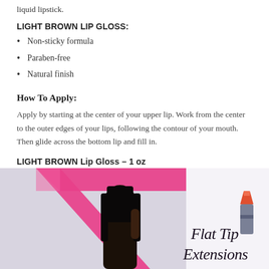liquid lipstick.
LIGHT BROWN LIP GLOSS:
Non-sticky formula
Paraben-free
Natural finish
How To Apply:
Apply by starting at the center of your upper lip. Work from the center to the outer edges of your lips, following the contour of your mouth. Then glide across the bottom lip and fill in.
LIGHT BROWN Lip Gloss – 1 oz
[Figure (photo): A promotional beauty image showing a woman holding a pink decorative frame, with text 'Flat Tip Extensions' and a lipstick icon on the right side]